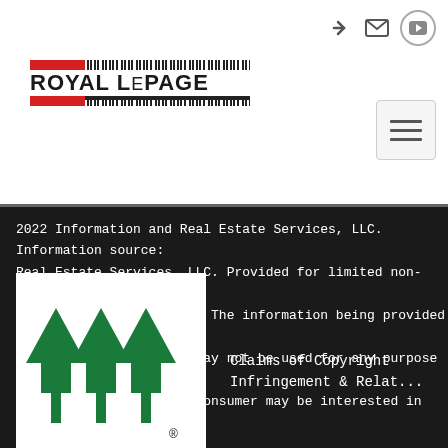[Figure (logo): Royal LePage logo with red and black barcode-style stripes]
[Figure (screenshot): Navigation icons: login arrow, envelope/mail, YouTube circle button, and hamburger menu button]
2022 Information and Real Estate Services, LLC. Information source: Real Estate Services, LLC. Provided for limited non-commercial use Rules. © Copyright IRES. The information being provided is for the consumer non-commercial use and may not be used for any purpose other than prospective properties consumer may be interested in purchasing. T... on this   Show More...
[Figure (logo): AAA green triple arrow logo on white background with registered trademark symbol]
Claims of Copyright Infringement & Relat...